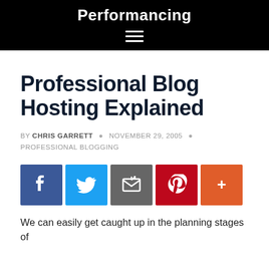Performancing
Professional Blog Hosting Explained
BY CHRIS GARRETT • NOVEMBER 29, 2005 • PROFESSIONAL BLOGGING
[Figure (infographic): Social sharing buttons: Facebook, Twitter, Share, Pinterest, More (+)]
We can easily get caught up in the planning stages of